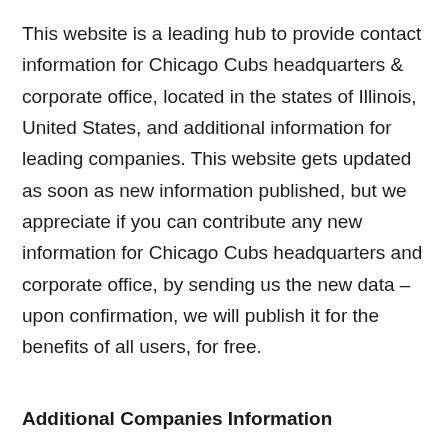This website is a leading hub to provide contact information for Chicago Cubs headquarters & corporate office, located in the states of Illinois, United States, and additional information for leading companies. This website gets updated as soon as new information published, but we appreciate if you can contribute any new information for Chicago Cubs headquarters and corporate office, by sending us the new data – upon confirmation, we will publish it for the benefits of all users, for free.
Additional Companies Information